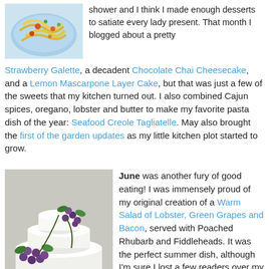[Figure (photo): Photo of pasta dish (Seafood Creole Tagliatelle) on a blue plate with colorful vegetables]
shower and I think I made enough desserts to satiate every lady present. That month I blogged about a pretty Strawberry Galette, a decadent Chocolate Chai Cheesecake, and a Lemon Mascarpone Layer Cake, but that was just a few of the sweets that my kitchen turned out. I also combined Cajun spices, oregano, lobster and butter to make my favorite pasta dish of the year: Seafood Creole Tagliatelle. May also brought the first of the garden updates as my little kitchen plot started to grow.
[Figure (photo): Photo of a white tiered wedding/celebration cake decorated with purple grapes and green ivy leaves]
June was another fury of good eating! I was immensely proud of my original creation of a Warm Salad of Lobster, Green Grapes and Bacon, served with Poached Rhubarb and Fiddleheads. It was the perfect summer dish, although I'm sure I lost a few readers over my 'how to dismember a lobster' video. I shared a recipe for a Maple Glazed Pork Chop...